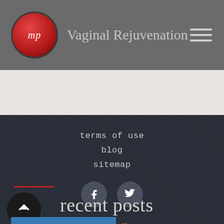Vaginal Rejuvenation
terms of use
blog
sitemap
[Figure (logo): Facebook and Twitter social media icons in dark circular buttons]
blog
recent posts